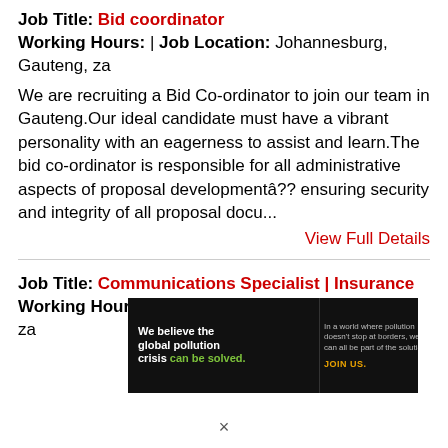Job Title: Bid coordinator
Working Hours: | Job Location: Johannesburg, Gauteng, za
We are recruiting a Bid Co-ordinator to join our team in Gauteng.Our ideal candidate must have a vibrant personality with an eagerness to assist and learn.The bid co-ordinator is responsible for all administrative aspects of proposal developmentâ?? ensuring security and integrity of all proposal docu...
View Full Details
Job Title: Communications Specialist | Insurance
Working Hours: | Job Location: Pretoria, Gauteng, za
[Figure (infographic): Pure Earth advertisement banner: black background on left with text 'We believe the global pollution crisis can be solved.' and middle section 'In a world where pollution doesn't stop at borders, we can all be part of the solution. JOIN US.' Right side white background with Pure Earth logo (diamond shape with leaf) and text PURE EARTH]
×